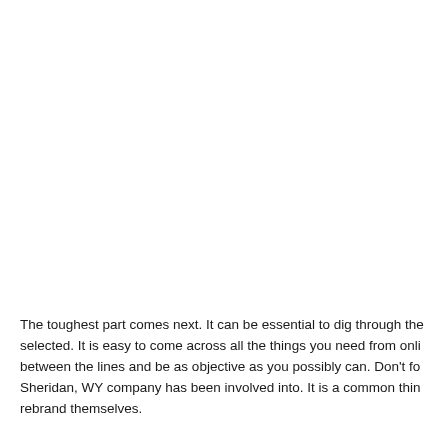The toughest part comes next. It can be essential to dig through the selected. It is easy to come across all the things you need from online between the lines and be as objective as you possibly can. Don't fo Sheridan, WY company has been involved into. It is a common thin rebrand themselves.